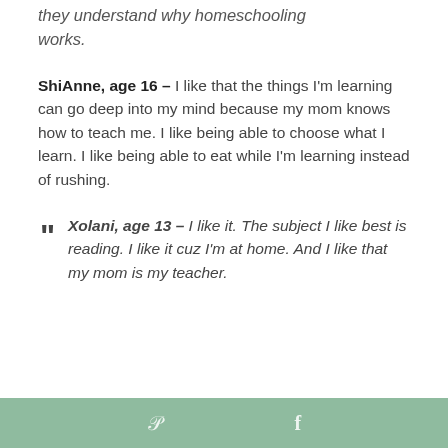they understand why homeschooling works.
ShiAnne, age 16 – I like that the things I'm learning can go deep into my mind because my mom knows how to teach me. I like being able to choose what I learn. I like being able to eat while I'm learning instead of rushing.
" Xolani, age 13 – I like it. The subject I like best is reading. I like it cuz I'm at home. And I like that my mom is my teacher.